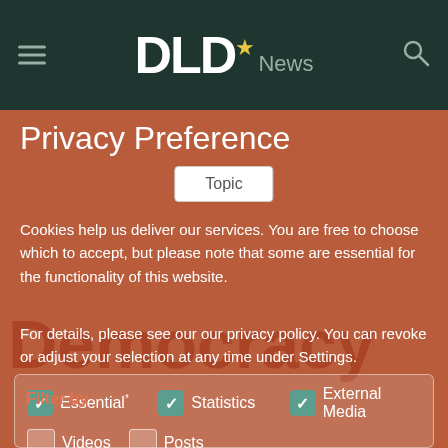[Figure (screenshot): DLD News website header with hamburger menu on left, DLD* News logo in center, search icon on right, on dark green background]
Privacy Preference
Cookies help us deliver our services. You are free to choose which to accept, but please note that some are essential for the functionality of this website.
For details, please see our our privacy policy. You can revoke or adjust your selection at any time under Settings.
Essential* [checked] Statistics [checked] External Media [checked]
Videos [unchecked] Posts [unchecked]
Accept all
Type to search
Save